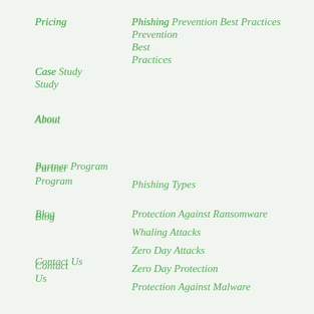Pricing
Phishing Prevention Best Practices
Case Study
About
Partner Program
Blog
Contact Us
Updates
Phishing Types
Protection Against Ransomware
Whaling Attacks
Zero Day Attacks
Zero Day Protection
Protection Against Malware